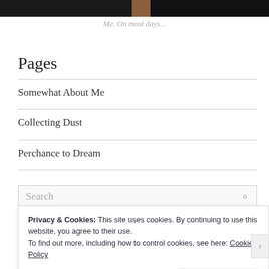[Figure (photo): Partial top strip of a photo, mostly dark/black]
Me. On most days...
Pages
Somewhat About Me
Collecting Dust
Perchance to Dream
Search
Privacy & Cookies: This site uses cookies. By continuing to use this website, you agree to their use.
To find out more, including how to control cookies, see here: Cookie Policy
Close and accept